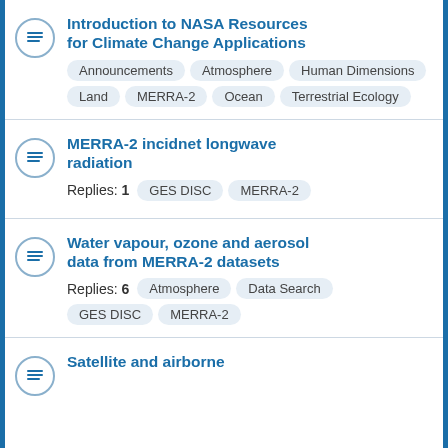Introduction to NASA Resources for Climate Change Applications
Tags: Announcements, Atmosphere, Human Dimensions, Land, MERRA-2, Ocean, Terrestrial Ecology
MERRA-2 incidnet longwave radiation
Replies: 1  Tags: GES DISC, MERRA-2
Water vapour, ozone and aerosol data from MERRA-2 datasets
Replies: 6  Tags: Atmosphere, Data Search, GES DISC, MERRA-2
Satellite and airborne